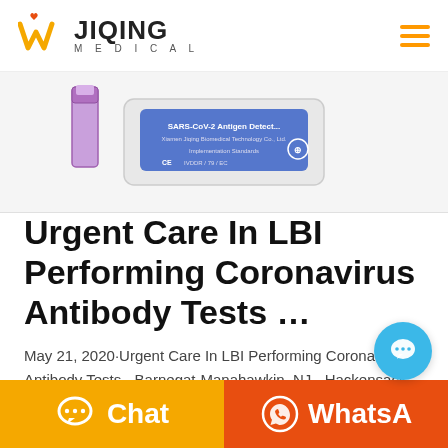JIQING MEDICAL
[Figure (photo): SARS-CoV-2 Antigen Detection test kit package with CE marking, alongside a sample collection tube, on a white background]
Urgent Care In LBI Performing Coronavirus Antibody Tests …
May 21, 2020·Urgent Care In LBI Performing Coronavirus Antibody Tests - Barnegat-Manahawkin, NJ - Hackensack Meridian Urgent Care can test whether patients were previously
[Figure (other): Teal circular chat bubble icon button floating above the bottom bar]
[Figure (other): Bottom navigation bar with orange Chat button on left and red-orange WhatsApp button on right]